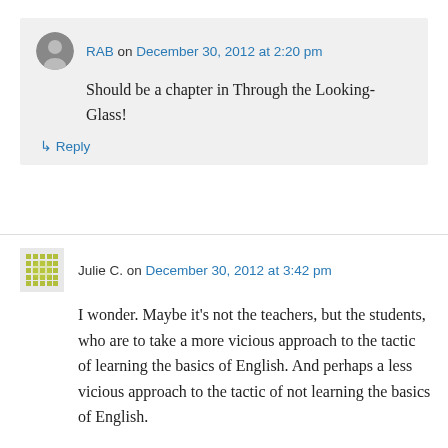RAB on December 30, 2012 at 2:20 pm
Should be a chapter in Through the Looking-Glass!
↳ Reply
Julie C. on December 30, 2012 at 3:42 pm
I wonder. Maybe it's not the teachers, but the students, who are to take a more vicious approach to the tactic of learning the basics of English. And perhaps a less vicious approach to the tactic of not learning the basics of English.